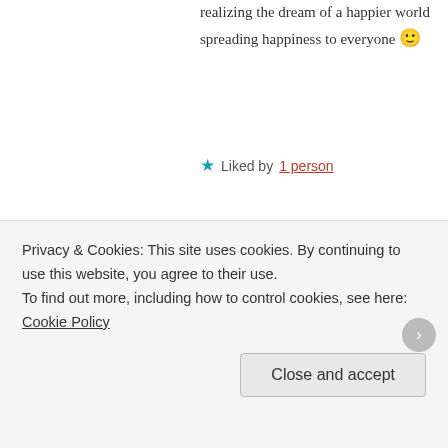realizing the dream of a happier world spreading happiness to everyone 🙂
★ Liked by 1 person
janebasilblog said:
March 27, 2015 at 1:55 pm
I wish we could meet xxx
★ Liked by 1 person
themissiontomars said:
Privacy & Cookies: This site uses cookies. By continuing to use this website, you agree to their use.
To find out more, including how to control cookies, see here: Cookie Policy
Close and accept